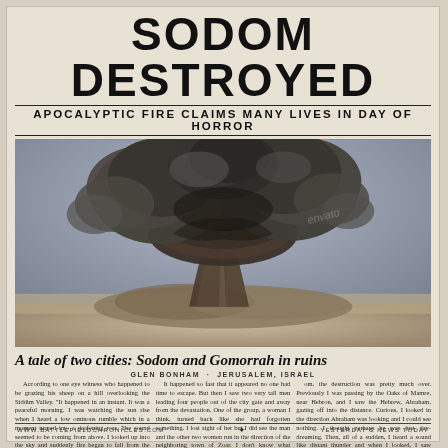SODOM DESTROYED
APOCALYPTIC FIRE CLAIMS MANY LIVES IN DAY OF HORROR
[Figure (photo): Large mushroom cloud explosion rising above a flat desert landscape, dramatic dark smoke billowing upward in classic nuclear blast formation]
A tale of two cities: Sodom and Gomorrah in ruins
GLEN BONHAM - JERUSALEM, ISRAEL
According to one eye witness who happened to be grazing his sheep on a hill overlooking the Siddim Valley. "It happened in an instant. It was a peaceful morning. I was watching the sun rise when I heard a low ominous rumble which in a moment turned into a deafening roar. The sound seemed to be coming from above. I looked up into the sky and suddenly fire began to fall from the heavens. At the same time an earthquake erupted and split the city in half. There was a strong smell of sulphur in the air. Within seconds the entire city was destroyed.
It happened so fast that it appeared no one had time to escape. But then I saw two very tall men leading four people out of the city gate and away from the devastation. One of the group, a woman I think, turned back like she had forgotten something. I lost sight of her but I did see the man and the other two women run in the direction of the neighboring town of Zoar. I don't know what happened to the two men who led them out. They just disappeared. A second eyewitness gave this report to one of our staff writers: "By the time I reached Sod-
om, the destruction was pretty much over. Previously I was passing by the Oaks of Mamre, near Hebron, and I saw the Hebrew, Abraham, gazing off into the distance. Curious, I looked in the direction Abraham was looking and I could see nothing. I thought perhaps he was just day-dreaming. Then, all of a sudden, I heard a sound like distant thunder and when I looked, I saw smoke rising in the distance, in the direction of Sodom... Strange... but it's almost as if Abraham was expecting the catastrophe to happen?" Continued on page A1.
www.battlefieldchronicles.com   ✦   YESTERDAY'S NEWS TODAY